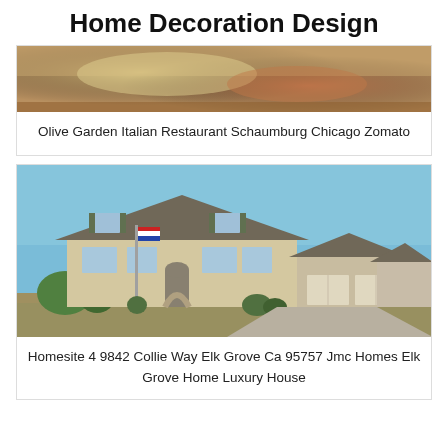Home Decoration Design
[Figure (photo): Close-up photo of Italian pasta dish from Olive Garden restaurant]
Olive Garden Italian Restaurant Schaumburg Chicago Zomato
[Figure (photo): Exterior photo of a large luxury house in Elk Grove with a RE/MAX flag and three-car garage]
Homesite 4 9842 Collie Way Elk Grove Ca 95757 Jmc Homes Elk Grove Home Luxury House